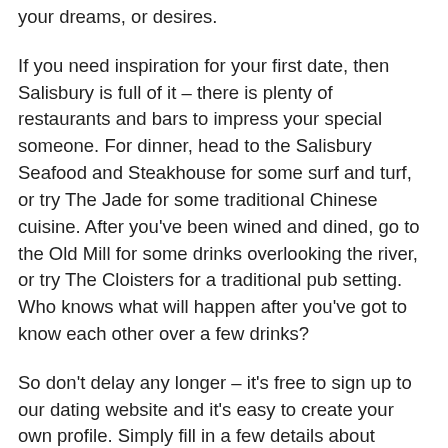your dreams, or desires.
If you need inspiration for your first date, then Salisbury is full of it – there is plenty of restaurants and bars to impress your special someone. For dinner, head to the Salisbury Seafood and Steakhouse for some surf and turf, or try The Jade for some traditional Chinese cuisine. After you've been wined and dined, go to the Old Mill for some drinks overlooking the river, or try The Cloisters for a traditional pub setting. Who knows what will happen after you've got to know each other over a few drinks?
So don't delay any longer – it's free to sign up to our dating website and it's easy to create your own profile. Simply fill in a few details about yourself, upload a photo and you can be browsing for your next encounter in moments. Start something special today with Encounters.uk!